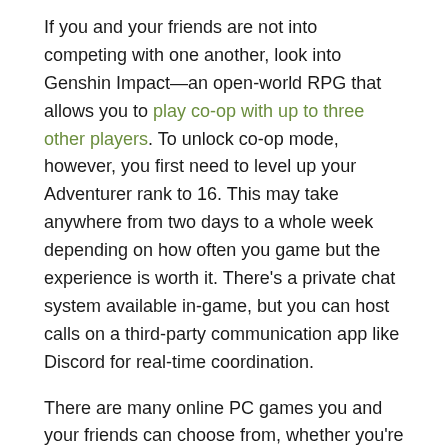If you and your friends are not into competing with one another, look into Genshin Impact—an open-world RPG that allows you to play co-op with up to three other players. To unlock co-op mode, however, you first need to level up your Adventurer rank to 16. This may take anywhere from two days to a whole week depending on how often you game but the experience is worth it. There's a private chat system available in-game, but you can host calls on a third-party communication app like Discord for real-time coordination.
There are many online PC games you and your friends can choose from, whether you're looking for a quick competitive game like poker or an online co-op RPG. There's a lot of replay value to them as well, so you'll never grow bored.
For more gaming news and recommendations, check out the other articles on our blog.